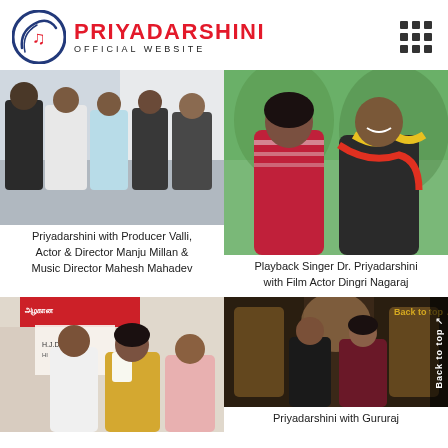PRIYADARSHINI OFFICIAL WEBSITE
[Figure (photo): Group photo of Priyadarshini with Producer Valli, Actor & Director Manju Millan & Music Director Mahesh Mahadev]
Priyadarshini with Producer Valli, Actor & Director Manju Millan & Music Director Mahesh Mahadev
[Figure (photo): Playback Singer Dr. Priyadarshini with Film Actor Dingri Nagaraj]
Playback Singer Dr. Priyadarshini with Film Actor Dingri Nagaraj
[Figure (photo): Priyadarshini at an event with others]
Priyadarshini with Gururaj